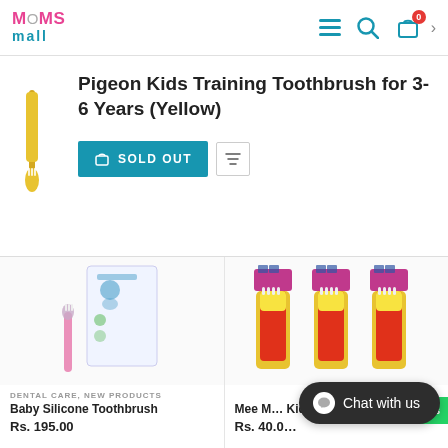Moms Mall — navigation header with logo, hamburger menu, search, and cart (0 items)
Pigeon Kids Training Toothbrush for 3-6 Years (Yellow)
SOLD OUT
[Figure (photo): Baby Silicone Toothbrush product image showing a pink toothbrush with packaging (Aman Baby brand)]
[Figure (photo): Three Mee Mee Kids toothbrushes (yellow/red) with pink packaging displayed side by side]
DENTAL CARE, NEW PRODUCTS
Baby Silicone Toothbrush
Rs. 195.00
Mee Mee Kids [partially visible]
Chat with us